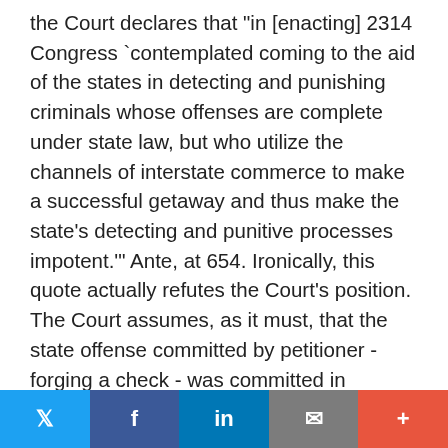the Court declares that "in [enacting] 2314 Congress `contemplated coming to the aid of the states in detecting and punishing criminals whose offenses are complete under state law, but who utilize the channels of interstate commerce to make a successful getaway and thus make the state's detecting and punitive processes impotent.'" Ante, at 654. Ironically, this quote actually refutes the Court's position. The Court assumes, as it must, that the state offense committed by petitioner - forging a check - was committed in Pennsylvania rather than in Ohio, from which petitioner commenced his interstate journey. This is not a case, therefore, in which the defendant's offense was complete under state law before he crossed state lines to make his getaway. Rather, this is a case in which the defendant crossed state lines and then committed the underlying state offense. 11 It is even more ironic that, although the issue of the meaning of the interstate
Twitter Facebook LinkedIn Email +